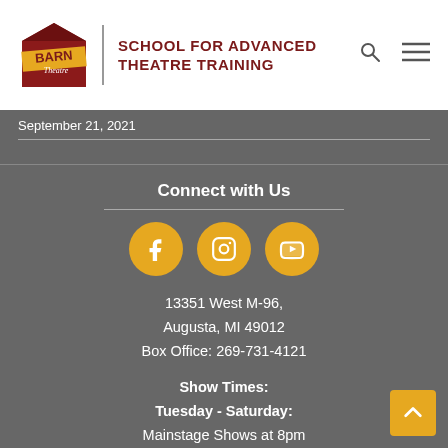[Figure (logo): Barn Theatre logo with school name: School for Advanced Theatre Training]
September 21, 2021
Connect with Us
[Figure (infographic): Three golden circular social media icons: Facebook, Instagram, YouTube]
13351 West M-96,
Augusta, MI 49012
Box Office: 269-731-4121
Show Times:
Tuesday - Saturday:
Mainstage Shows at 8pm